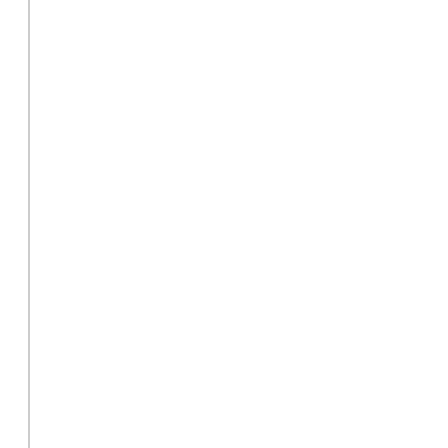attend more club shoots, you can be told to dispose of your property an firearm in Queensland and your waiting for a licence you can expect a n dramatically increased and we are looking at 13+ weeks before anythin months".
Not as prevalent, but same arrogant "modus operandi" 'Permits to Acqu many weeks after the time stipulated by the Weapons Regulation 2016, 101 Waiting period for decision on application for permit to acquire
(1) This section prescribes the period for section 42 of the Act.
(2) The period is 28 days after the day the applicant lodged the applica weapon.
(3) However, the period is the remainder of the day on which the app the permit, if—
(a) the applicant already holds a firearm under a licence; or
(b) an authorised officer is satisfied there are exceptional circumstances
So why do licenced shooters who have a firearm on their licence have t that they have bought and paid for? If our government cannot make an the reforms permitted by their in some